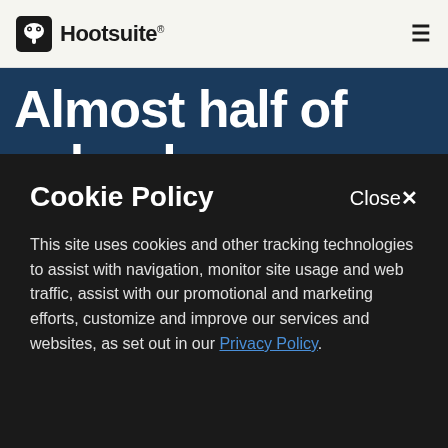Hootsuite
Almost half of schools
Cookie Policy
This site uses cookies and other tracking technologies to assist with navigation, monitor site usage and web traffic, assist with our promotional and marketing efforts, customize and improve our services and websites, as set out in our Privacy Policy.